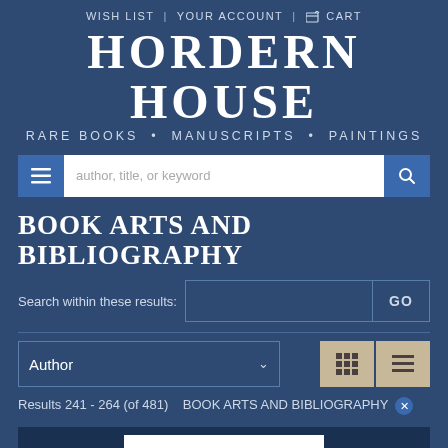WISH LIST | YOUR ACCOUNT | CART
HORDERN HOUSE
RARE BOOKS · MANUSCRIPTS · PAINTINGS
[Figure (screenshot): Search bar with menu button, text input placeholder 'author, title, or keyword', and search button]
BOOK ARTS AND BIBLIOGRAPHY
Search within these results: [input field] GO
Author [dropdown] [grid view button] [list view button]
Results 241 - 264 (of 481)  BOOK ARTS AND BIBLIOGRAPHY ✕
[Figure (screenshot): Bottom partial image area showing white rectangle]